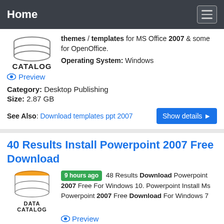Home
[Figure (logo): Database/catalog stack logo with text CATALOG]
themes / templates for MS Office 2007 & some for OpenOffice.
Operating System: Windows
Preview
Category: Desktop Publishing
Size: 2.87 GB
See Also: Download templates ppt 2007
Show details ▶
40 Results Install Powerpoint 2007 Free Download
[Figure (logo): Data Catalog database stack logo with orange top and DATA CATALOG text]
9 hours ago 48 Results Download Powerpoint 2007 Free For Windows 10. Powerpoint Install Ms Powerpoint 2007 Free Download For Windows 7
Preview